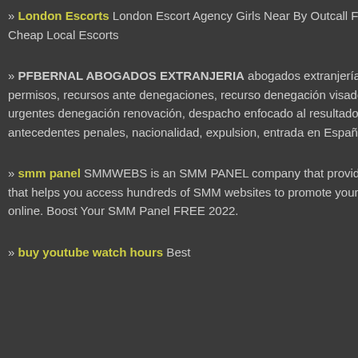» London Escorts London Escort Agency Girls Near By Outcall Female Escorts Cheap Local Escorts
» PFBERNAL ABOGADOS EXTRANJERIA abogados extranjería, tramitacion permisos, recursos ante denegaciones, recurso denegación visado, recursos urgentes denegación renovación, despacho enfocado al resultado,cancelacion antecedentes penales, nacionalidad, expulsion, entrada en España
» smm panel SMMWEBS is an SMM PANEL company that provides a service that helps you access hundreds of SMM websites to promote your business online. Boost Your SMM Panel FREE 2022.
» buy youtube watch hours Best
Website URL: https://garagedooroffar
Category: Local History
Garage Door Opener of Farmington H
[Figure (infographic): Advertisement banner with white background reading PUT YOUR 468 only $1/dire in dark red and black bold text]
Al
Alexa Traffic for https:/